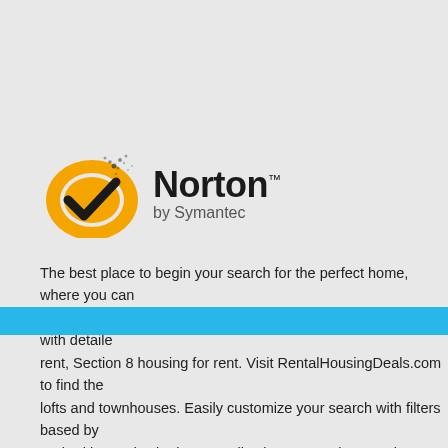[Figure (logo): Norton by Symantec logo: yellow circular checkmark symbol with black checkmark, beside bold text 'Norton' with trademark symbol and 'by Symantec' in gray below]
The best place to begin your search for the perfect home, where you can... We can help you save money by finding the best rental deals with detaile... rent, Section 8 housing for rent. Visit RentalHousingDeals.com to find the... lofts and townhouses. Easily customize your search with filters based by... Authorities and submit pre-applications to receive rental assistance, low i... choice vouchers, and waiting list information. Our resource center provide... out how much to pay for rent. Our content-rich blog shows you ways to sa...